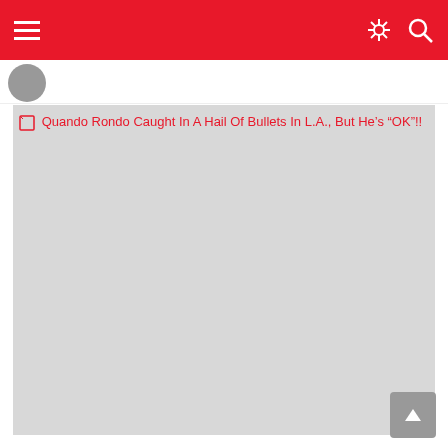Navigation bar with hamburger menu, share icon, and search icon
[Figure (photo): Broken image placeholder showing alt text: Quando Rondo Caught In A Hail Of Bullets In L.A., But He's "OK"!!]
Quando Rondo Caught In A Hail Of Bullets In L.A., But He’s “OK”!!